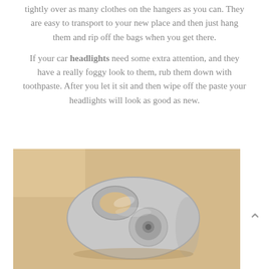tightly over as many clothes on the hangers as you can. They are easy to transport to your new place and then just hang them and rip off the bags when you get there.
If your car headlights need some extra attention, and they have a really foggy look to them, rub them down with toothpaste. After you let it sit and then wipe off the paste your headlights will look as good as new.
[Figure (photo): A close-up photograph of a silver metal soda can pull tab (ring pull) lying on a light beige/tan surface.]